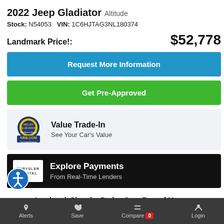2022 Jeep Gladiator Altitude
Stock: N54053   VIN: 1C6HJTAG3NL180374
Landmark Price!: $52,778
Request More Information
Get Pre-Approved
[Figure (logo): KBB.com Kelly Blue Book badge logo - Value Trade-In, See Your Car's Value]
[Figure (logo): Chrysler Capital logo - Explore Payments, From Real-Time Lenders]
Landmark Chrysler Dodge Jeep Ram of Morrow
Alerts  Save  Compare 0  Login